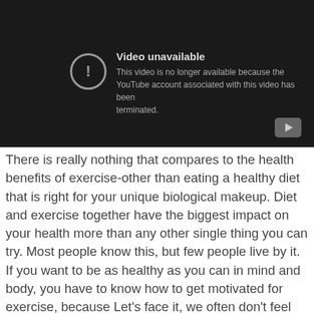[Figure (screenshot): YouTube 'Video unavailable' error screen on dark background. Shows a circle with exclamation mark icon and text: 'Video unavailable. This video is no longer available because the YouTube account associated with this video has been terminated.' A play button icon is visible in the bottom right corner.]
There is really nothing that compares to the health benefits of exercise-other than eating a healthy diet that is right for your unique biological makeup. Diet and exercise together have the biggest impact on your health more than any other single thing you can try. Most people know this, but few people live by it. If you want to be as healthy as you can in mind and body, you have to know how to get motivated for exercise, because Let's face it, we often don't feel like doing it!